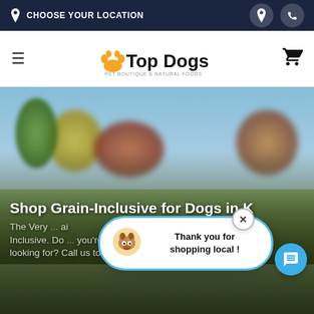CHOOSE YOUR LOCATION
Top Dogs Pet Boutique & Natural Foods
[Figure (photo): Blurred outdoor background with a dog running through a field, colorful autumn trees in background and blue sky. Hero banner image.]
Shop Grain-Inclusive for Dogs in K
The Very ... Grain-Inclusive. Do you have what you're looking for? Call us to place an order
Thank you for shopping local !